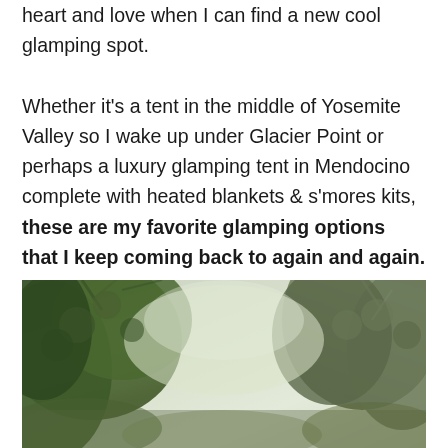heart and love when I can find a new cool glamping spot.

Whether it's a tent in the middle of Yosemite Valley so I wake up under Glacier Point or perhaps a luxury glamping tent in Mendocino complete with heated blankets & s'mores kits, these are my favorite glamping options that I keep coming back to again and again.
[Figure (photo): Outdoor photo showing tree branches and foliage with a light sky background, likely taken in a forest or glamping setting.]